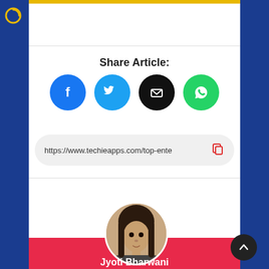[Figure (logo): Gold circular logo icon on blue sidebar]
Share Article:
[Figure (infographic): Four social share buttons: Facebook (blue circle with f), Twitter (cyan circle with bird), Email (black circle with envelope), WhatsApp (green circle with phone)]
https://www.techieapps.com/top-ente
[Figure (photo): Circular profile photo of Jyoti Bharwani, a young woman with long dark hair]
Jyoti Bharwani